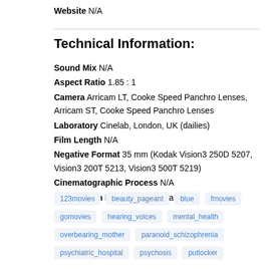Website N/A
Technical Information:
Sound Mix N/A
Aspect Ratio 1.85 : 1
Camera Arricam LT, Cooke Speed Panchro Lenses, Arricam ST, Cooke Speed Panchro Lenses
Laboratory Cinelab, London, UK (dailies)
Film Length N/A
Negative Format 35 mm (Kodak Vision3 250D 5207, Vision3 200T 5213, Vision3 500T 5219)
Cinematographic Process N/A
Printed Film Format D-Cinema
123movies
beauty_pageant
blue
fmovies
gomovies
hearing_voices
mental_health
overbearing_mother
paranoid_schizophrenia
psychiatric_hospital
psychosis
putlocker